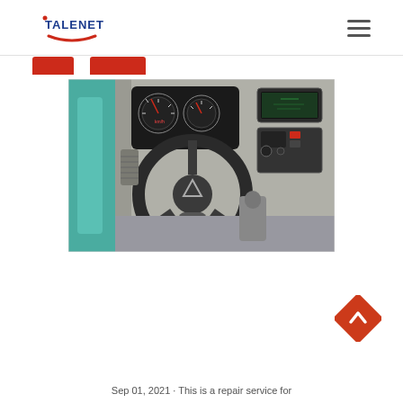TALENET [logo with hamburger menu]
[Figure (photo): Truck cab interior showing steering wheel with triangle logo in center, instrument cluster gauges, and center console with navigation/audio system]
[Figure (infographic): Orange diamond-shaped back-to-top button with upward chevron arrow]
Sep 01, 2021 · This is a repair service for